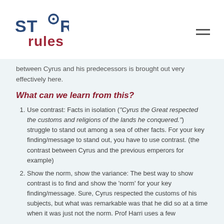Story Rules
between Cyrus and his predecessors is brought out very effectively here.
What can we learn from this?
Use contrast: Facts in isolation (“Cyrus the Great respected the customs and religions of the lands he conquered.”) struggle to stand out among a sea of other facts. For your key finding/message to stand out, you have to use contrast. (the contrast between Cyrus and the previous emperors for example)
Show the norm, show the variance: The best way to show contrast is to find and show the ‘norm’ for your key finding/message. Sure, Cyrus respected the customs of his subjects, but what was remarkable was that he did so at a time when it was just not the norm. Prof Harri uses a few